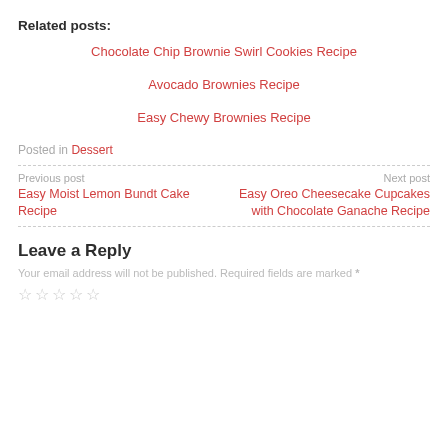Related posts:
Chocolate Chip Brownie Swirl Cookies Recipe
Avocado Brownies Recipe
Easy Chewy Brownies Recipe
Posted in Dessert
Previous post
Easy Moist Lemon Bundt Cake Recipe
Next post
Easy Oreo Cheesecake Cupcakes with Chocolate Ganache Recipe
Leave a Reply
Your email address will not be published. Required fields are marked *